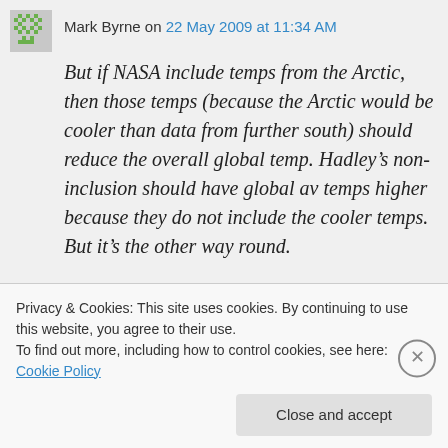Mark Byrne on 22 May 2009 at 11:34 AM
But if NASA include temps from the Arctic, then those temps (because the Arctic would be cooler than data from further south) should reduce the overall global temp. Hadley's non-inclusion should have global av temps higher because they do not include the cooler temps. But it's the other way round.
Good point!
Privacy & Cookies: This site uses cookies. By continuing to use this website, you agree to their use. To find out more, including how to control cookies, see here: Cookie Policy